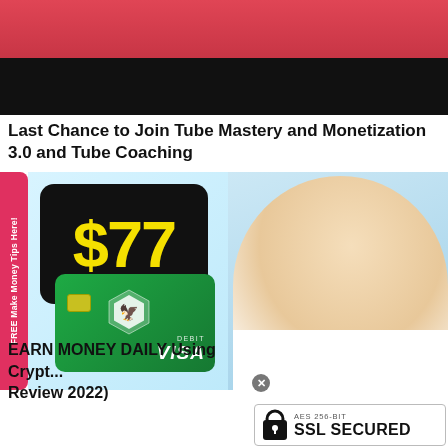[Figure (photo): Top portion of a video thumbnail or webpage header with red and black background]
Last Chance to Join Tube Mastery and Monetization 3.0 and Tube Coaching
[Figure (photo): Promotional image showing a person holding a card with $77 and a Crypto.com VISA debit card, with a pink sidebar tab reading FREE Make Money Tips Here!]
EARN MONEY DAILY Using Crypto... Review 2022)
[Figure (infographic): SSL Secured badge with AES 256-BIT SSL SECURED text and lock icon]